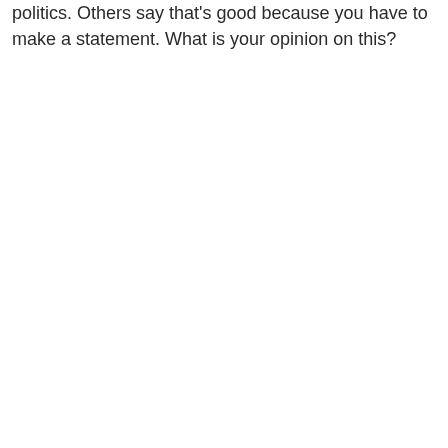politics. Others say that's good because you have to make a statement. What is your opinion on this?